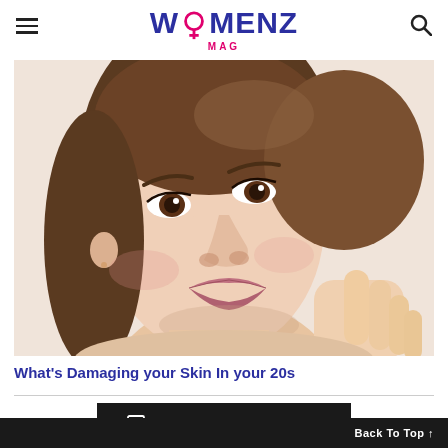WOMENZ MAG
[Figure (photo): Close-up portrait of a young woman with short brown hair, wearing natural makeup, touching her chin gently with her fingers against a white background.]
What's Damaging your Skin In your 20s
VIEW DESKTOP VERSION
Back To Top ↑